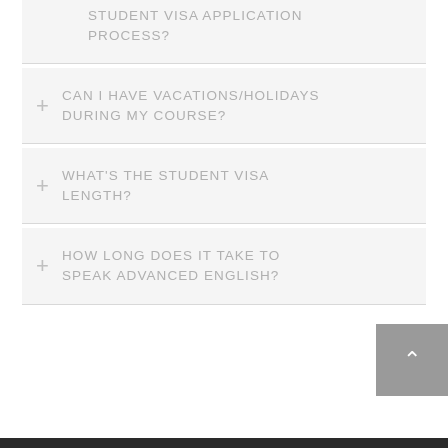STUDENT VISA APPLICATION PROCESS?
CAN I HAVE VACATIONS/HOLIDAYS DURING MY COURSE?
WHAT'S THE STUDENT VISA LENGTH?
HOW LONG DOES IT TAKE TO SPEAK ADVANCED ENGLISH?